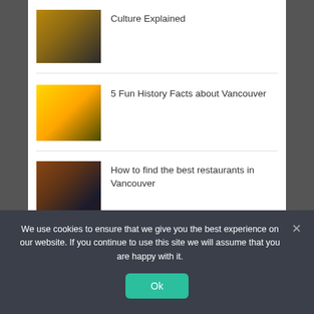[Figure (photo): Thumbnail photo of a person in an ornate interior]
Culture Explained
[Figure (photo): Thumbnail photo of a yellow taxi or car detail with gloved hand]
5 Fun History Facts about Vancouver
[Figure (photo): Thumbnail photo of a restaurant interior with shelves and warm lighting]
How to find the best restaurants in Vancouver
We use cookies to ensure that we give you the best experience on our website. If you continue to use this site we will assume that you are happy with it.